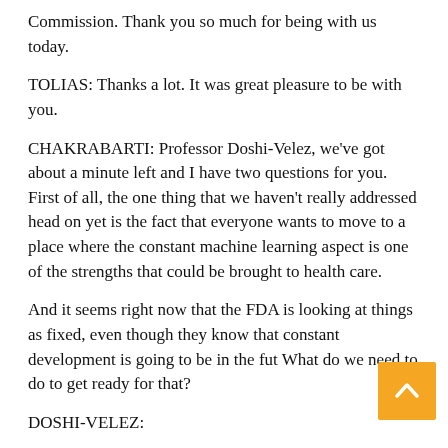Commission. Thank you so much for being with us today.
TOLIAS: Thanks a lot. It was great pleasure to be with you.
CHAKRABARTI: Professor Doshi-Velez, we've got about a minute left and I have two questions for you. First of all, the one thing that we haven't really addressed head on yet is the fact that everyone wants to move to a place where the constant machine learning aspect is one of the strengths that could be brought to health care.
And it seems right now that the FDA is looking at things as fixed, even though they know that constant development is going to be in the fut… What do we need to do to get ready for that?
DOSHI-VELEZ: the most is the...